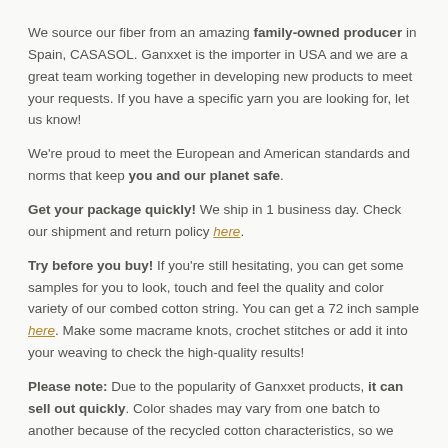We source our fiber from an amazing family-owned producer in Spain, CASASOL. Ganxxet is the importer in USA and we are a great team working together in developing new products to meet your requests. If you have a specific yarn you are looking for, let us know!
We're proud to meet the European and American standards and norms that keep you and our planet safe.
Get your package quickly! We ship in 1 business day. Check our shipment and return policy here.
Try before you buy! If you're still hesitating, you can get some samples for you to look, touch and feel the quality and color variety of our combed cotton string. You can get a 72 inch sample here. Make some macrame knots, crochet stitches or add it into your weaving to check the high-quality results!
Please note: Due to the popularity of Ganxxet products, it can sell out quickly. Color shades may vary from one batch to another because of the recycled cotton characteristics, so we recommend checking it out for specific requirements.